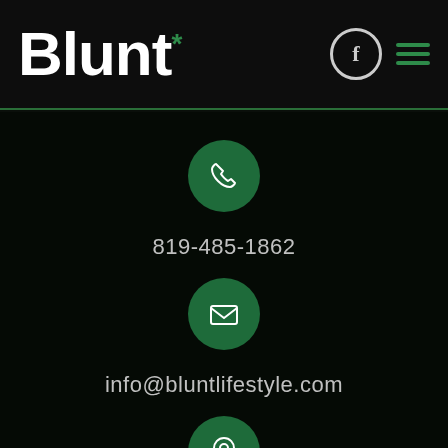Blunt*
[Figure (logo): Blunt* logo with Facebook icon and hamburger menu in dark header]
[Figure (illustration): Green circle with white phone icon]
819-485-1862
[Figure (illustration): Green circle with white email/envelope icon]
info@bluntlifestyle.com
[Figure (illustration): Green circle with white location pin icon]